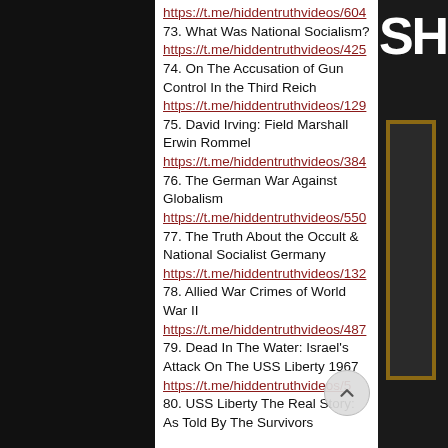https://t.me/hiddentruthvideos/604
73. What Was National Socialism?
https://t.me/hiddentruthvideos/425
74. On The Accusation of Gun Control In the Third Reich
https://t.me/hiddentruthvideos/129
75. David Irving: Field Marshall Erwin Rommel
https://t.me/hiddentruthvideos/384
76. The German War Against Globalism
https://t.me/hiddentruthvideos/550
77. The Truth About the Occult & National Socialist Germany
https://t.me/hiddentruthvideos/132
78. Allied War Crimes of World War II
https://t.me/hiddentruthvideos/487
79. Dead In The Water: Israel's Attack On The USS Liberty 1967
https://t.me/hiddentruthvideos/5…
80. USS Liberty The Real Story: As Told By The Survivors